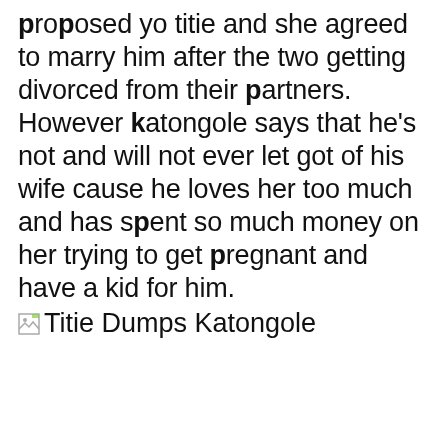proposed yo titie and she agreed to marry him after the two getting divorced from their partners. However katongole says that he's not and will not ever let got of his wife cause he loves her too much and has spent so much money on her trying to get pregnant and have a kid for him.
[Figure (other): Broken image placeholder with alt text 'Titie Dumps Katongole']